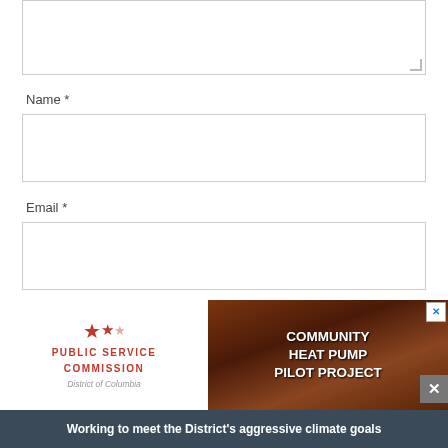[Figure (screenshot): Textarea input box (top, partially visible)]
Name *
[Figure (screenshot): Name input text field box]
Email *
[Figure (screenshot): Email input text field box]
Website
[Figure (screenshot): Website input text field box]
[Figure (infographic): DC Public Service Commission Community Heat Pump Pilot Project advertisement banner with logo, stars, aerial photo, and tagline: Working to meet the District's aggressive climate goals]